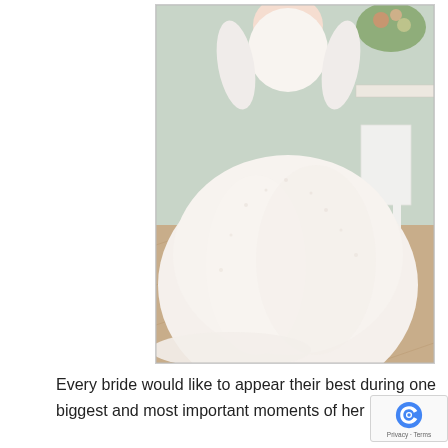[Figure (photo): A bride wearing a white lace ball gown wedding dress with long sleeves and a voluminous skirt with a train, standing in an elegant room with flowers and a white chair in the background, on a herringbone wood floor.]
Every bride would like to appear their best during one biggest and most important moments of her life – her